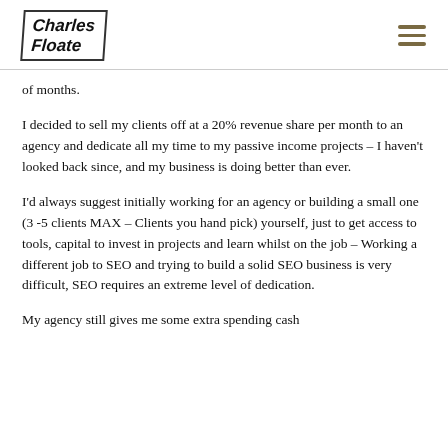Charles Floate
of months.
I decided to sell my clients off at a 20% revenue share per month to an agency and dedicate all my time to my passive income projects – I haven't looked back since, and my business is doing better than ever.
I'd always suggest initially working for an agency or building a small one (3 -5 clients MAX – Clients you hand pick) yourself, just to get access to tools, capital to invest in projects and learn whilst on the job – Working a different job to SEO and trying to build a solid SEO business is very difficult, SEO requires an extreme level of dedication.
My agency still gives me some extra spending cash